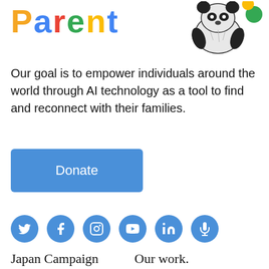PARENT
[Figure (illustration): Panda bear illustration with green dot accent]
Our goal is to empower individuals around the world through AI technology as a tool to find and reconnect with their families.
[Figure (other): Donate button — blue rectangle with white text 'Donate']
[Figure (other): Social media icon row: Twitter, Facebook, Instagram, YouTube, LinkedIn, Podcast (microphone)]
Japan Campaign
Our work.
Campaign Page
The Issue
Hunger Strike
What We Do
Japan Country Page
Our Long Term Vision